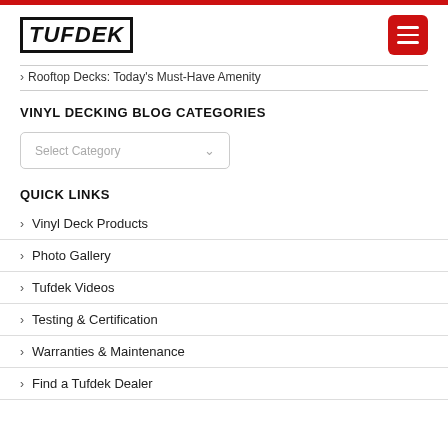Tufdek
Rooftop Decks: Today's Must-Have Amenity
VINYL DECKING BLOG CATEGORIES
Select Category
QUICK LINKS
Vinyl Deck Products
Photo Gallery
Tufdek Videos
Testing & Certification
Warranties & Maintenance
Find a Tufdek Dealer